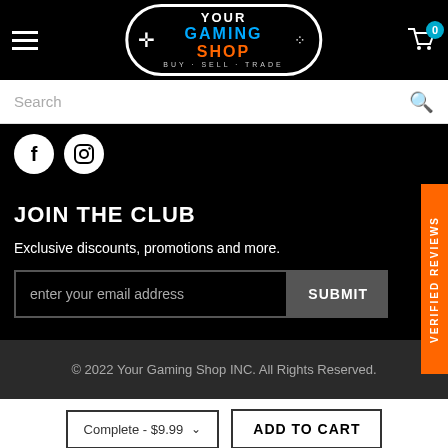[Figure (logo): Your Gaming Shop logo with BUY · SELL · TRADE tagline on black header with hamburger menu and cart icon]
Search
[Figure (illustration): Facebook and Instagram social media icons (white circles with f and camera icons)]
JOIN THE CLUB
Exclusive discounts, promotions and more.
enter your email address
SUBMIT
VERIFIED REVIEWS
© 2022 Your Gaming Shop INC. All Rights Reserved.
Complete - $9.99
ADD TO CART